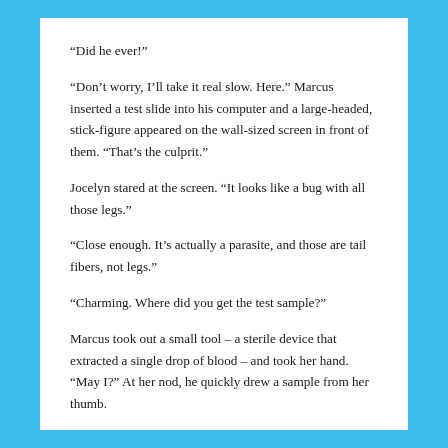“Did he ever!”
“Don’t worry, I’ll take it real slow. Here.” Marcus inserted a test slide into his computer and a large-headed, stick-figure appeared on the wall-sized screen in front of them. “That’s the culprit.”
Jocelyn stared at the screen. “It looks like a bug with all those legs.”
“Close enough. It’s actually a parasite, and those are tail fibers, not legs.”
“Charming. Where did you get the test sample?”
Marcus took out a small tool – a sterile device that extracted a single drop of blood – and took her hand. “May I?” At her nod, he quickly drew a sample from her thumb.
“I’ll never get used to that.”